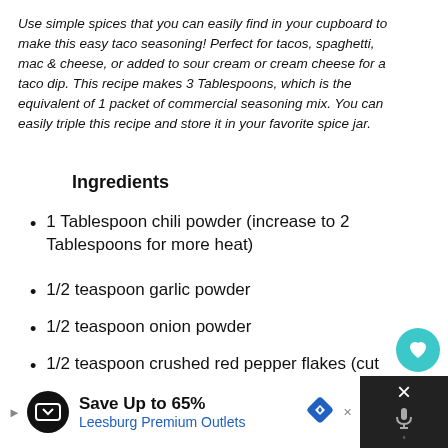Use simple spices that you can easily find in your cupboard to make this easy taco seasoning! Perfect for tacos, spaghetti, mac & cheese, or added to sour cream or cream cheese for a taco dip. This recipe makes 3 Tablespoons, which is the equivalent of 1 packet of commercial seasoning mix. You can easily triple this recipe and store it in your favorite spice jar.
Ingredients
1 Tablespoon chili powder (increase to 2 Tablespoons for more heat)
1/2 teaspoon garlic powder
1/2 teaspoon onion powder
1/2 teaspoon crushed red pepper flakes (cut down for mild or sub 1/8 teaspoon cayenne)
1/2 teaspoon dried oregano
1 teaspoon paprika
1 teaspoon ground cumin
[Figure (other): UI elements: heart/like button (teal circle), share button, count badge showing 1, and What's Next widget showing Savory Taco Tortillas]
[Figure (other): Advertisement bar: Save Up to 65% Leesburg Premium Outlets]